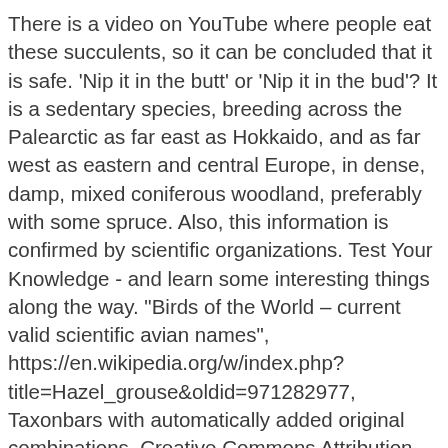There is a video on YouTube where people eat these succulents, so it can be concluded that it is safe. 'Nip it in the butt' or 'Nip it in the bud'? It is a sedentary species, breeding across the Palearctic as far east as Hokkaido, and as far west as eastern and central Europe, in dense, damp, mixed coniferous woodland, preferably with some spruce. Also, this information is confirmed by scientific organizations. Test Your Knowledge - and learn some interesting things along the way. "Birds of the World – current valid scientific avian names", https://en.wikipedia.org/w/index.php?title=Hazel_grouse&oldid=971282977, Taxonbars with automatically added original combinations, Creative Commons Attribution-ShareAlike License, This page was last edited on 5 August 2020, at 04:38.
This is a relatively small grouse at 35–39 cm (14–15 in) length. The plumage of this plump bird is finely patterned, but it essentially has